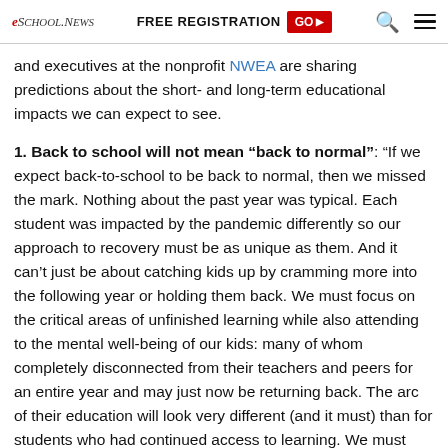eSchool News | FREE REGISTRATION GO | Search | Menu
and executives at the nonprofit NWEA are sharing predictions about the short- and long-term educational impacts we can expect to see.
1. Back to school will not mean “back to normal”: “If we expect back-to-school to be back to normal, then we missed the mark. Nothing about the past year was typical. Each student was impacted by the pandemic differently so our approach to recovery must be as unique as them. And it can’t just be about catching kids up by cramming more into the following year or holding them back. We must focus on the critical areas of unfinished learning while also attending to the mental well-being of our kids: many of whom completely disconnected from their teachers and peers for an entire year and may just now be returning back. The arc of their education will look very different (and it must) than for students who had continued access to learning. We must